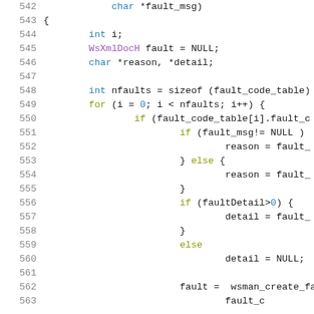[Figure (screenshot): Source code listing showing lines 542-563 of a C program. The code shows a function body with variable declarations, a for loop, conditional statements for fault handling, and a call to wsman_create_fault. Line numbers are shown in gray on the left margin. Keywords and identifiers are syntax-highlighted in purple, blue, and olive colors.]